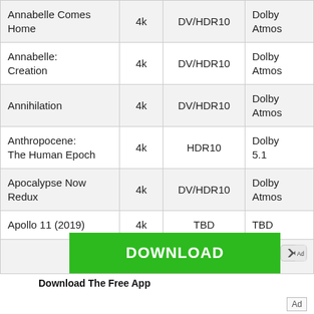| Title | Resolution | HDR | Audio |
| --- | --- | --- | --- |
| Annabelle Comes Home | 4k | DV/HDR10 | Dolby Atmos |
| Annabelle: Creation | 4k | DV/HDR10 | Dolby Atmos |
| Annihilation | 4k | DV/HDR10 | Dolby Atmos |
| Anthropocene: The Human Epoch | 4k | HDR10 | Dolby 5.1 |
| Apocalypse Now Redux | 4k | DV/HDR10 | Dolby Atmos |
| Apollo 11 (2019) | 4k | TBD | TBD |
| [partial row] |  |  | Dolby... |
[Figure (other): Green download button advertisement banner with close/ad icons and 'Download The Free App' subtext]
Download The Free App
Ad